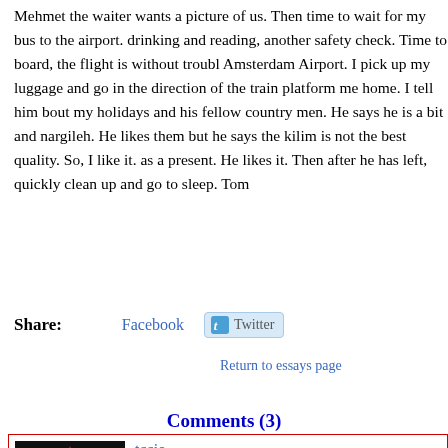Mehmet the waiter wants a picture of us. Then time to wait for my bus to the airport. drinking and reading, another safety check. Time to board, the flight is without trouble. Amsterdam Airport. I pick up my luggage and go in the direction of the train platform me home. I tell him bout my holidays and his fellow country men. He says he is a bit and nargileh. He likes them but he says the kilim is not the best quality. So, I like it. as a present. He likes it. Then after he has left, quickly clean up and go to sleep. Tomo
Share: Facebook Twitter
Return to essays page
Comments (3)
tccio
why is not imaginable cats walking through the chur
libralady